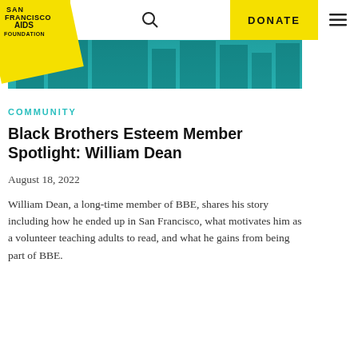SAN FRANCISCO AIDS FOUNDATION | DONATE
[Figure (photo): Aerial/cityscape photo of San Francisco buildings with teal/cyan color overlay]
COMMUNITY
Black Brothers Esteem Member Spotlight: William Dean
August 18, 2022
William Dean, a long-time member of BBE, shares his story including how he ended up in San Francisco, what motivates him as a volunteer teaching adults to read, and what he gains from being part of BBE.